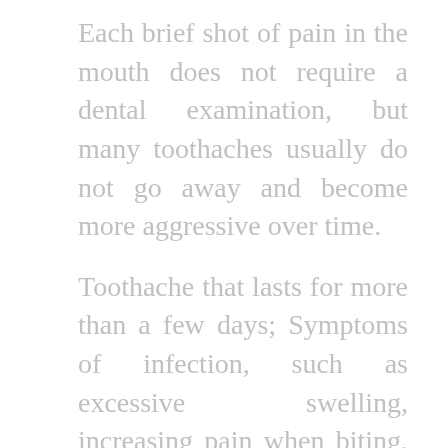Each brief shot of pain in the mouth does not require a dental examination, but many toothaches usually do not go away and become more aggressive over time.
Toothache that lasts for more than a few days; Symptoms of infection, such as excessive swelling, increasing pain when biting, inflamed red gums and / or the presence of white purulent discharge with blood; Difficulty breathing or swallowing; Any fever with pain. Your dentist will examine your mouth and will probably take a radiograph of your teeth. Tooth decay, abscesses, gingivitis, cracked teeth or even rough abrasions are all common